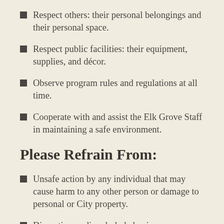Respect others: their personal belongings and their personal space.
Respect public facilities: their equipment, supplies, and décor.
Observe program rules and regulations at all time.
Cooperate with and assist the Elk Grove Staff in maintaining a safe environment.
Please Refrain From:
Unsafe action by any individual that may cause harm to any other person or damage to personal or City property.
Disruptive or disorderly behavior.
All forms of harassment, bullying, or taking unfair advantage of anyone.
Smoking and or using any tobacco or